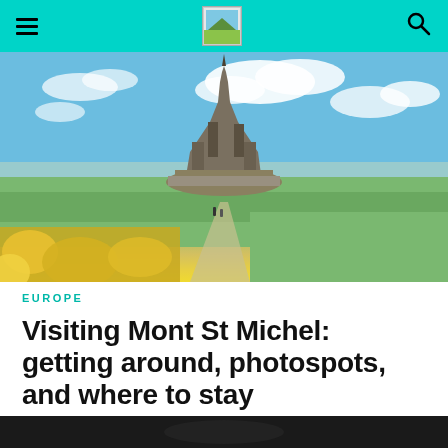Navigation bar with hamburger menu, logo, and search icon
[Figure (photo): Mont St Michel castle/abbey rising above flat green fields with yellow flowers in foreground and cloudy blue sky above. Two people walking on a path toward the island.]
EUROPE
Visiting Mont St Michel: getting around, photospots, and where to stay
[Figure (photo): Bottom portion of a dark photo, partially visible at the bottom of the page.]